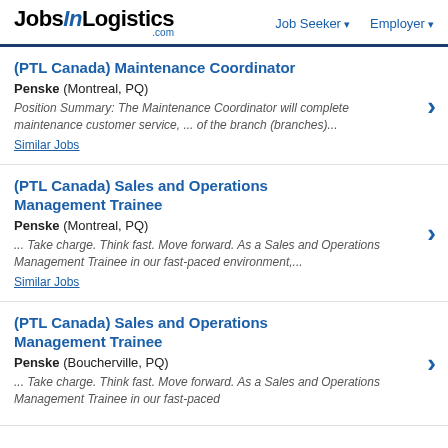JobsInLogistics.com | Job Seeker | Employer
(PTL Canada) Maintenance Coordinator
Penske (Montreal, PQ)
Position Summary: The Maintenance Coordinator will complete maintenance customer service, ... of the branch (branches)...
Similar Jobs
(PTL Canada) Sales and Operations Management Trainee
Penske (Montreal, PQ)
... Take charge. Think fast. Move forward. As a Sales and Operations Management Trainee in our fast-paced environment,...
Similar Jobs
(PTL Canada) Sales and Operations Management Trainee
Penske (Boucherville, PQ)
... Take charge. Think fast. Move forward. As a Sales and Operations Management Trainee in our fast-paced